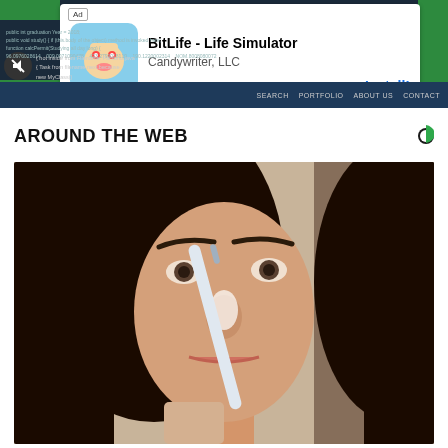[Figure (screenshot): Screenshot of a website with a mobile ad overlay showing 'BitLife - Life Simulator' by Candywriter LLC with Install button, and a dark blue navigation bar with SEARCH, PORTFOLIO, ABOUT US, CONTACT links]
AROUND THE WEB
[Figure (photo): Close-up photo of a dark-haired woman applying something white to her nose with a brush or tool, beauty/skincare content]